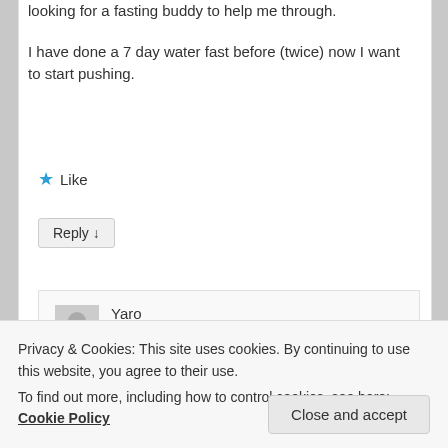looking for a fasting buddy to help me through.

I have done a 7 day water fast before (twice) now I want to start pushing.
★ Like
Reply ↓
Yaro on March 9, 2017 at 12:55 PM said:
Daniel, if I may- with longer fast (over 15-18 days), you will most likely go thru (2)
fasting in general in the world..he runs a
Privacy & Cookies: This site uses cookies. By continuing to use this website, you agree to their use.
To find out more, including how to control cookies, see here: Cookie Policy
Close and accept